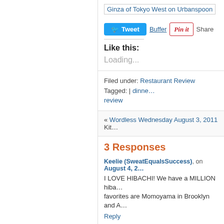[Figure (screenshot): Ginza of Tokyo West on Urbanspoon link/badge]
Tweet  Buffer  Pin it  Share
Like this:
Loading...
Filed under: Restaurant Review  Tagged: | dinner  review
« Wordless Wednesday August 3, 2011  Kitc…
3 Responses
Keelie (SweatEqualsSuccess), on August 4, 2…
I LOVE HIBACHI! We have a MILLION hiba… favorites are Momoyama in Brooklyn and A…
Reply
browniesandzucchini, on August 4, 2…